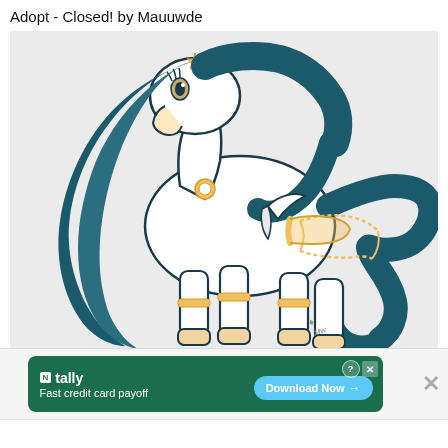Adopt - Closed! by Mauuwde
[Figure (illustration): Digital illustration of a white pony with long teal/dark green flowing hair, wearing gold accessories including a necklace with a round pendant, a star hairpin, gold leg bands, and a gold chain on its flank. The pony is depicted in a walking pose with small wings visible. The background is light grey.]
[Figure (screenshot): Advertisement banner for 'tally' app promoting 'Fast credit card payoff' with a 'Download Now' button. Green background banner with small icons. Has a close button on the right.]